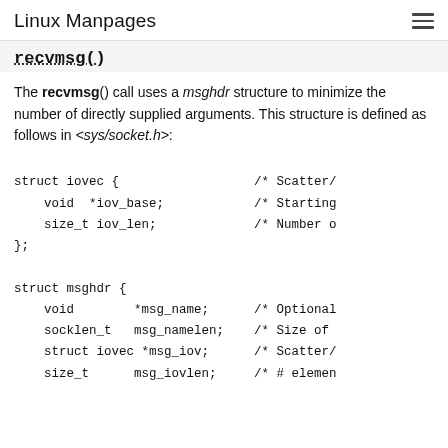Linux Manpages
recvmsg()
The recvmsg() call uses a msghdr structure to minimize the number of directly supplied arguments. This structure is defined as follows in <sys/socket.h>: